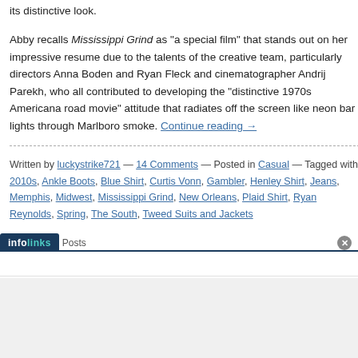its distinctive look.
Abby recalls Mississippi Grind as "a special film" that stands out on her impressive resume due to the talents of the creative team, particularly directors Anna Boden and Ryan Fleck and cinematographer Andrij Parekh, who all contributed to developing the "distinctive 1970s Americana road movie" attitude that radiates off the screen like neon bar lights through Marlboro smoke. Continue reading →
Written by luckystrike721 — 14 Comments — Posted in Casual — Tagged with 2010s, Ankle Boots, Blue Shirt, Curtis Vonn, Gambler, Henley Shirt, Jeans, Memphis, Midwest, Mississippi Grind, New Orleans, Plaid Shirt, Ryan Reynolds, Spring, The South, Tweed Suits and Jackets
[Figure (other): Infolinks advertisement bar with logo and close button, followed by a white ad area and gray footer area]